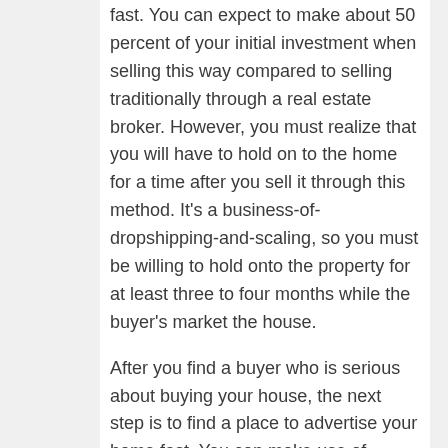fast. You can expect to make about 50 percent of your initial investment when selling this way compared to selling traditionally through a real estate broker. However, you must realize that you will have to hold on to the home for a time after you sell it through this method. It's a business-of-dropshipping-and-scaling, so you must be willing to hold onto the property for at least three to four months while the buyer's market the house.
After you find a buyer who is serious about buying your house, the next step is to find a place to advertise your home fast. You can make use of multiple listing services and newspaper classifieds to help sell your home fast. Before you start advertising, make sure you are getting qualified buyers interested in purchasing your home. This will help to speed up the process.
Get all of your paperwork ready and take care of any last